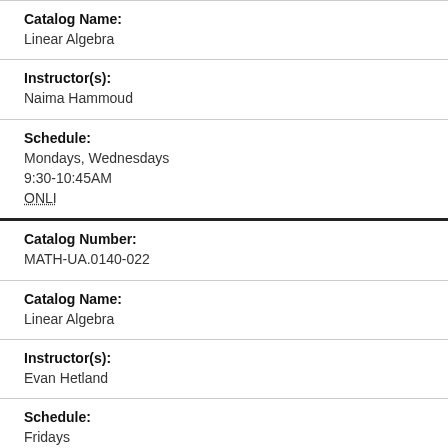Catalog Name:
Linear Algebra
Instructor(s):
Naima Hammoud
Schedule:
Mondays, Wednesdays
9:30-10:45AM
ONLI
Catalog Number:
MATH-UA.0140-022
Catalog Name:
Linear Algebra
Instructor(s):
Evan Hetland
Schedule:
Fridays
9:30-10:45AM